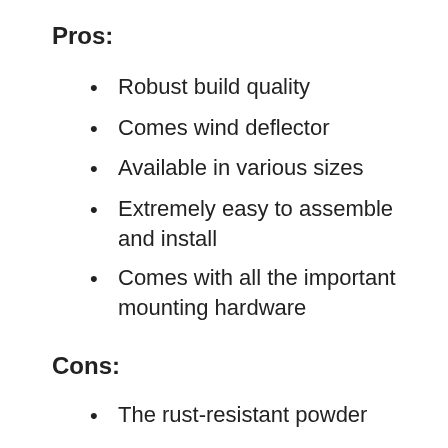Pros:
Robust build quality
Comes wind deflector
Available in various sizes
Extremely easy to assemble and install
Comes with all the important mounting hardware
Cons:
The rust-resistant powder